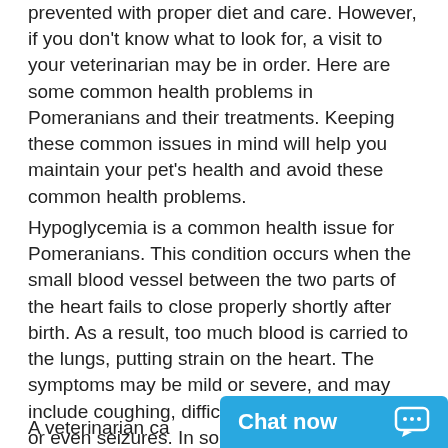prevented with proper diet and care. However, if you don't know what to look for, a visit to your veterinarian may be in order. Here are some common health problems in Pomeranians and their treatments. Keeping these common issues in mind will help you maintain your pet's health and avoid these common health problems.
Hypoglycemia is a common health issue for Pomeranians. This condition occurs when the small blood vessel between the two parts of the heart fails to close properly shortly after birth. As a result, too much blood is carried to the lungs, putting strain on the heart. The symptoms may be mild or severe, and may include coughing, difficulty with coordination, or even seizures. In some severe cases, the dog may die of hypoglycemia. The problem can be treated, but the symptoms must be recognized in order to treat the condition.
A veterinarian ca